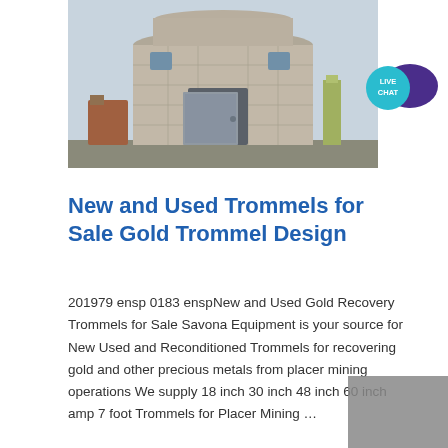[Figure (photo): Photograph of a large circular concrete industrial building or silo structure with an entrance door and smaller windows, taken from ground level looking up. Industrial equipment visible in the background.]
[Figure (logo): Live Chat button badge: teal circular chat bubble with 'LIVE CHAT' text in white, overlapping a dark purple speech bubble icon.]
New and Used Trommels for Sale Gold Trommel Design
201979 ensp 0183 enspNew and Used Gold Recovery Trommels for Sale Savona Equipment is your source for New Used and Reconditioned Trommels for recovering gold and other precious metals from placer mining operations We supply 18 inch 30 inch 48 inch 60 inch amp 7 foot Trommels for Placer Mining …